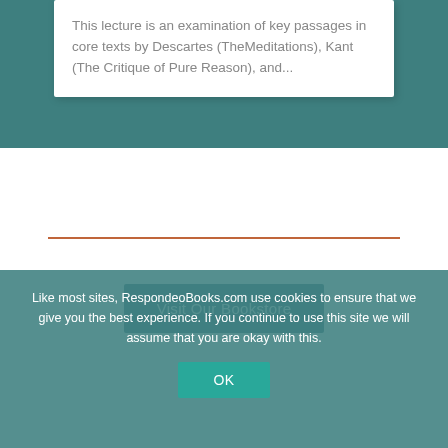This lecture is an examination of key passages in core texts by Descartes (TheMeditations), Kant (The Critique of Pure Reason), and...
Visit Our Bookstore
Like most sites, RespondeoBooks.com use cookies to ensure that we give you the best experience. If you continue to use this site we will assume that you are okay with this.
OK